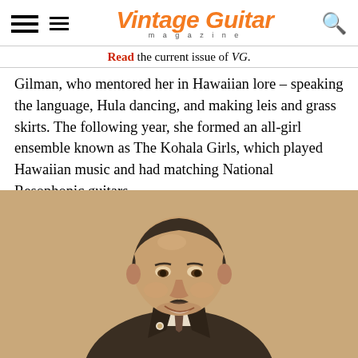Vintage Guitar magazine
Read the current issue of VG.
Gilman, who mentored her in Hawaiian lore – speaking the language, Hula dancing, and making leis and grass skirts. The following year, she formed an all-girl ensemble known as The Kohala Girls, which played Hawaiian music and had matching National Resophonic guitars.
[Figure (photo): Sepia-toned photograph of a smiling heavyset man in a suit and tie, looking downward and to the right, photographed from roughly the chest up.]